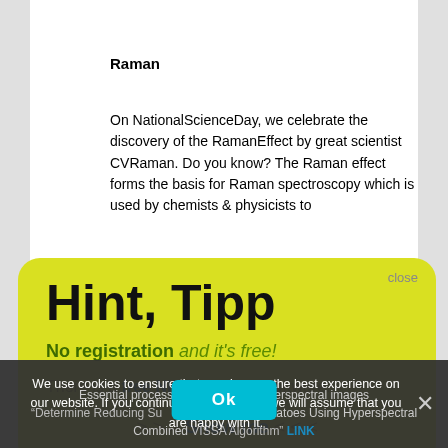Raman
On NationalScienceDay, we celebrate the discovery of the RamanEffect by great scientist CVRaman. Do you know? The Raman effect forms the basis for Raman spectroscopy which is used by chemists & physicists to
[Figure (screenshot): Yellow rounded popup overlay with title 'Hint, Tipp', text 'No registration and it’s free!' and 'There is a free NIR-Predictor Software.' with '>>> Show me <<<' link and close button]
We use cookies to ensure that we give you the best experience on our website. If you continue to use this site we will assume that you are happy with it.
Essential processing methods of hyperspectral images
“Determine Reducing Sugar Content in Potatoes Using Hyperspectral Combined VISSA Algorithm” LINK